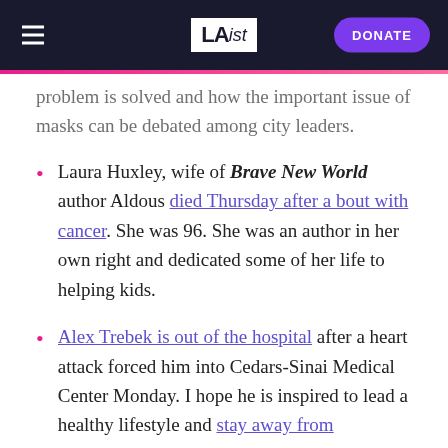LAist — DONATE
problem is solved and how the important issue of masks can be debated among city leaders.
Laura Huxley, wife of Brave New World author Aldous died Thursday after a bout with cancer. She was 96. She was an author in her own right and dedicated some of her life to helping kids.
Alex Trebek is out of the hospital after a heart attack forced him into Cedars-Sinai Medical Center Monday. I hope he is inspired to lead a healthy lifestyle and stay away from